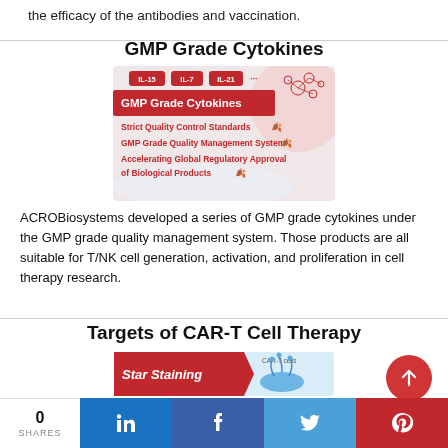the efficacy of the antibodies and vaccination.
GMP Grade Cytokines
[Figure (infographic): GMP Grade Cytokines promotional banner showing IL-15, IL-7, IL-21 labels, a red bold title 'GMP Grade Cytokines', and bullet points: Strict Quality Control Standards, GMP Grade Quality Management System, Accelerating Global Regulatory Approval of Biological Products, with a molecular illustration on the right.]
ACROBiosystems developed a series of GMP grade cytokines under the GMP grade quality management system. Those products are all suitable for T/NK cell generation, activation, and proliferation in cell therapy research.
Targets of CAR-T Cell Therapy
[Figure (infographic): CAR-T Cell Therapy image showing Star Staining banner text in red/white, a blue CAR-T cell illustration, and 'CAR-T cells' label.]
0 SHARES  in  f  Twitter  Pinterest